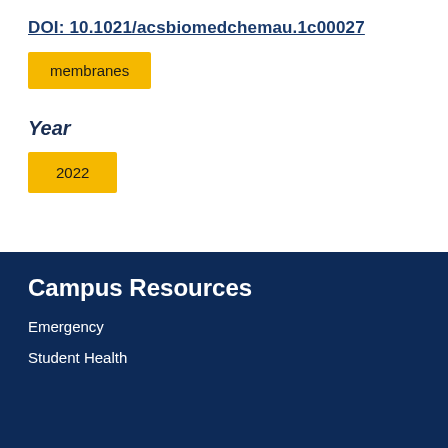DOI: 10.1021/acsbiomedchemau.1c00027
membranes
Year
2022
Campus Resources
Emergency
Student Health